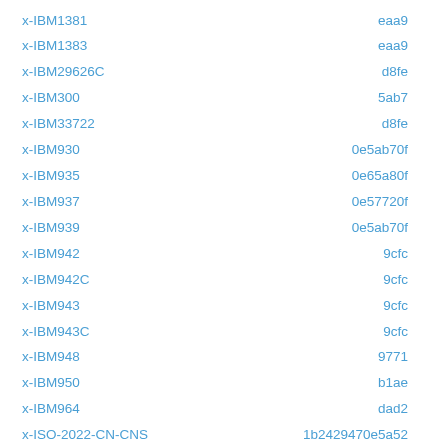| Name | Value |
| --- | --- |
| x-IBM1381 | eaa9 |
| x-IBM1383 | eaa9 |
| x-IBM29626C | d8fe |
| x-IBM300 | 5ab7 |
| x-IBM33722 | d8fe |
| x-IBM930 | 0e5ab70f |
| x-IBM935 | 0e65a80f |
| x-IBM937 | 0e57720f |
| x-IBM939 | 0e5ab70f |
| x-IBM942 | 9cfc |
| x-IBM942C | 9cfc |
| x-IBM943 | 9cfc |
| x-IBM943C | 9cfc |
| x-IBM948 | 9771 |
| x-IBM950 | b1ae |
| x-IBM964 | dad2 |
| x-ISO-2022-CN-CNS | 1b2429470e5a52 |
| x-ISO-2022-CN-GB | 1b2429410e6a29 |
| x-JIS0208 | 587e |
| x-MS932_0213 | 9cfc |